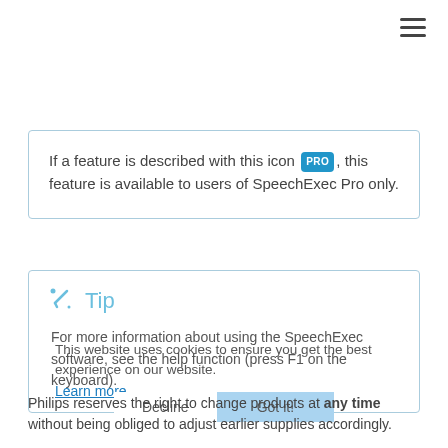[Figure (other): Hamburger menu icon (three horizontal lines) in the top right corner]
If a feature is described with this icon [PRO], this feature is available to users of SpeechExec Pro only.
Tip
For more information about using the SpeechExec software, see the help function (press F1 on the keyboard).
This website uses cookies to ensure you get the best experience on our website.
Learn more
Philips reserves the right to change products at any time without being obliged to adjust earlier supplies accordingly.